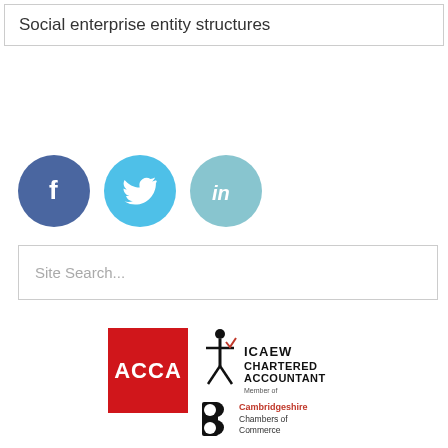Social enterprise entity structures
[Figure (logo): Social media icons: Facebook (blue circle with f), Twitter (light blue circle with bird), LinkedIn (light teal circle with 'in')]
[Figure (other): Site Search input box with magnifying glass icon]
[Figure (logo): ACCA logo (red square with white ACCA text), ICAEW Chartered Accountant logo (figure with text), Cambridgeshire Chambers of Commerce logo]